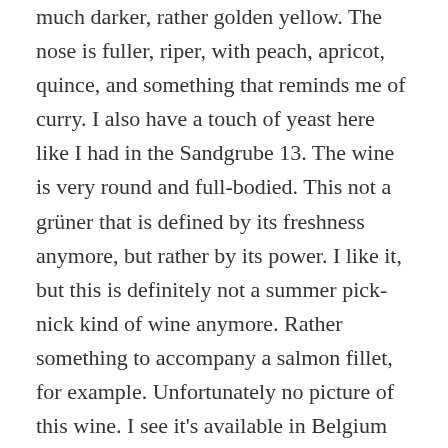much darker, rather golden yellow. The nose is fuller, riper, with peach, apricot, quince, and something that reminds me of curry. I also have a touch of yeast here like I had in the Sandgrube 13. The wine is very round and full-bodied. This not a grüner that is defined by its freshness anymore, but rather by its power. I like it, but this is definitely not a summer pick-nick kind of wine anymore. Rather something to accompany a salmon fillet, for example. Unfortunately no picture of this wine. I see it's available in Belgium for 21,30€.
I was very happy with my little tour of grüner veltliner. There's so much more to discover of course. Some of these grüners can age very well, actually, and then develop honey and quince aromas. I haven't had an opportunity now to try one that has aged, but will look out for more grüners. They are all-rounders really. They